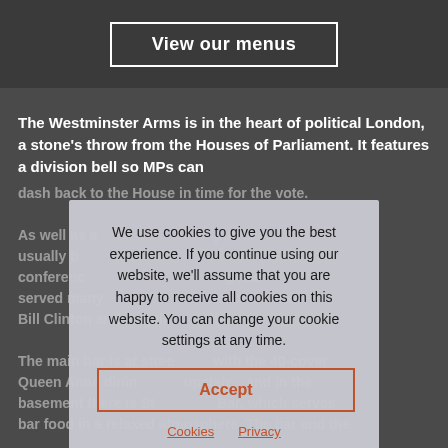View our menus
The Westminster Arms is in the heart of political London, a stone's throw from the Houses of Parliament. It features a division bell so MPs can dash back to the House in time for the vote. As well as a pub is usually b conference has served many Desmond Tutu, Bill Clinton and Angelina Jolie.
The main bar is at street level with the 40-cover Queen Anne dining room upstairs and in the basement there is St Bar, which serves bar food in a relaxed atmosphere. The bar and the
We use cookies to give you the best experience. If you continue using our website, we'll assume that you are happy to receive all cookies on this website. You can change your cookie settings at any time.
Accept
Cookies   Privacy